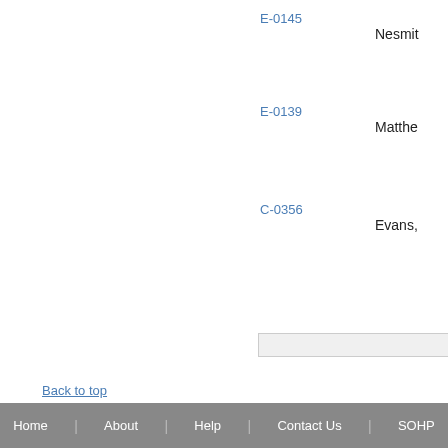E-0145
Nesmit
E-0139
Matthe
C-0356
Evans,
Back to top
Home | About | Help | Contact Us | SOHP